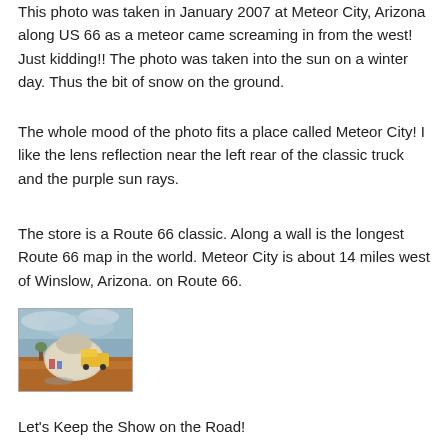This photo was taken in January 2007 at Meteor City, Arizona along US 66 as a meteor came screaming in from the west! Just kidding!! The photo was taken into the sun on a winter day. Thus the bit of snow on the ground.
The whole mood of the photo fits a place called Meteor City! I like the lens reflection near the left rear of the classic truck and the purple sun rays.
The store is a Route 66 classic. Along a wall is the longest Route 66 map in the world. Meteor City is about 14 miles west of Winslow, Arizona. on Route 66.
[Figure (photo): A colorful HDR-style photograph of what appears to be Meteor City store on Route 66, showing a dome-shaped building with a yellow vintage truck parked outside, set against a dramatic sky with reddish desert ground.]
Let's Keep the Show on the Road!